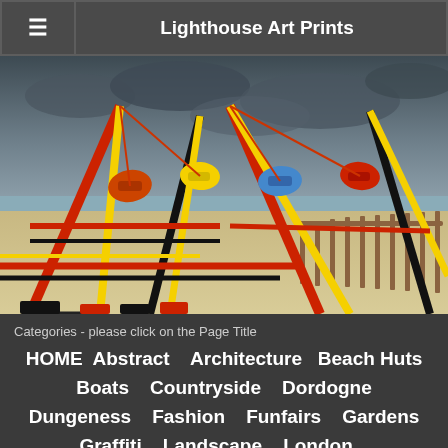Lighthouse Art Prints
[Figure (photo): Colorful fairground/beach ride structure with red, yellow, and black frames on a sandy beach under a dramatic cloudy sky. Wooden fence visible in the foreground.]
Categories - please click on the Page Title
HOME  Abstract  Architecture  Beach Huts
Boats  Countryside  Dordogne
Dungeness  Fashion  Funfairs  Gardens
Graffiti  Landscape  London  Miscellaneous
People  Piers  Seaside - Seascape  Shops